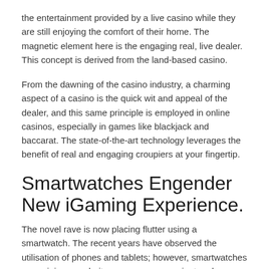the entertainment provided by a live casino while they are still enjoying the comfort of their home. The magnetic element here is the engaging real, live dealer. This concept is derived from the land-based casino.
From the dawning of the casino industry, a charming aspect of a casino is the quick wit and appeal of the dealer, and this same principle is employed in online casinos, especially in games like blackjack and baccarat. The state-of-the-art technology leverages the benefit of real and engaging croupiers at your fingertip.
Smartwatches Engender New iGaming Experience.
The novel rave is now placing flutter using a smartwatch. The recent years have observed the utilisation of phones and tablets; however, smartwatches are gaining popularity as a more convenient and accessible option.
The prediction of the smartwatch industry, generating a revenue of $35 billion in the year 2021, had everything to do with the